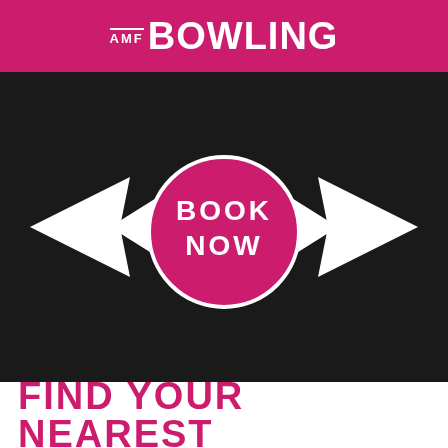[Figure (logo): AMF Bowling logo on pink/magenta background header bar]
[Figure (infographic): Dark background with two white arrow chevrons pointing inward toward a magenta circular 'BOOK NOW' button in the center]
FIND YOUR NEAREST